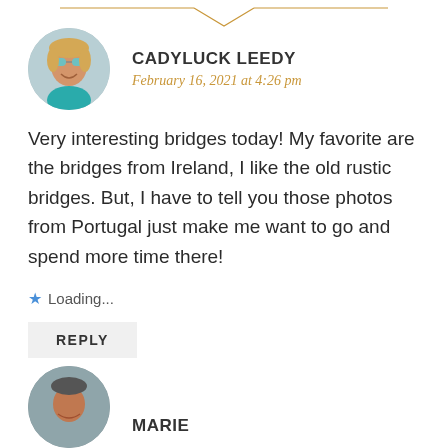[Figure (illustration): Decorative gold diamond/chevron divider at top of page]
CADYLUCK LEEDY
February 16, 2021 at 4:26 pm
Very interesting bridges today! My favorite are the bridges from Ireland, I like the old rustic bridges. But, I have to tell you those photos from Portugal just make me want to go and spend more time there!
Loading...
REPLY
MARIE